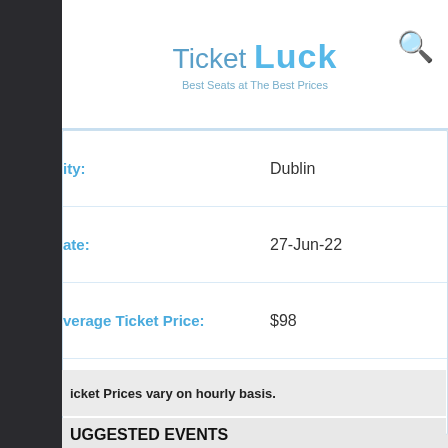Ticket Luck — Best Seats at The Best Prices
| Field | Value |
| --- | --- |
| City: | Dublin |
| Date: | 27-Jun-22 |
| Average Ticket Price: | $98 |
| Get In Price(Minimum Price): | $98 |
Ticket Prices vary on hourly basis.
SUGGESTED EVENTS
For Hall Kansas City MO Tickets